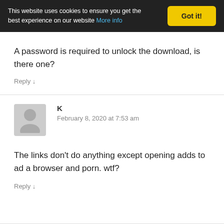This website uses cookies to ensure you get the best experience on our website More info   Got it!
A password is required to unlock the download, is there one?
Reply ↓
K
February 8, 2020 at 7:53 am
The links don't do anything except opening adds to ad a browser and porn. wtf?
Reply ↓